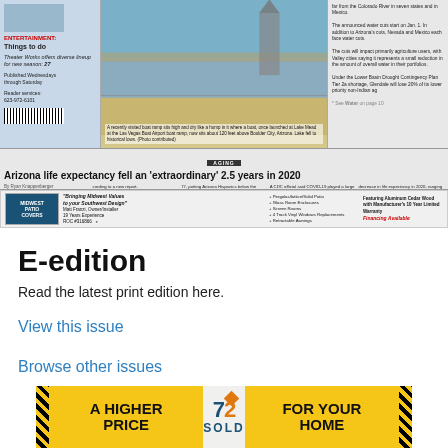[Figure (screenshot): Newspaper front page screenshot showing entertainment section, Lake Mead drought photo, water shortage article, Arizona life expectancy headline story, and Midwest Patio Covers advertisement]
E-edition
Read the latest print edition here.
View this issue
Browse other issues
[Figure (advertisement): 72 SOLD advertisement: A HIGHER PRICE FOR YOUR HOME with yellow and black diagonal stripe border]